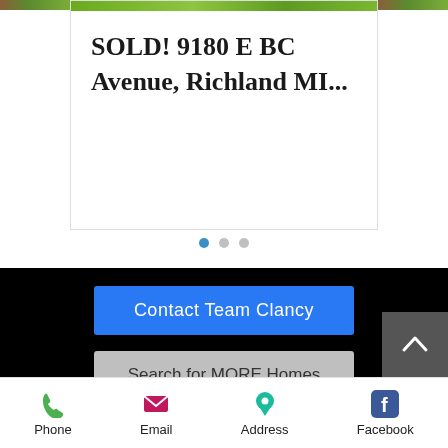SOLD! 9180 E BC Avenue, Richland MI...
Contact Team Clancy
Search for MORE Homes
Michigan Lake Front Homes For Sale
Gull Lake Community Blog
Gull Lake Real Estate
Gull Lake School District Real Estate
Phone  Email  Address  Facebook